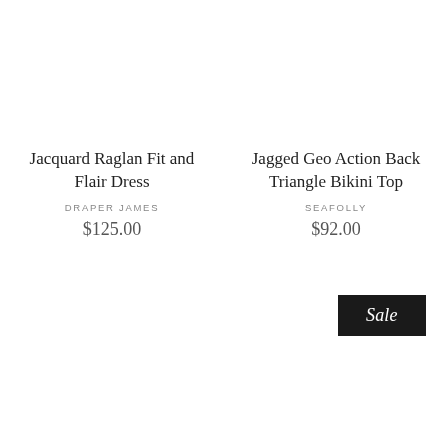Jacquard Raglan Fit and Flair Dress
DRAPER JAMES
$125.00
Jagged Geo Action Back Triangle Bikini Top
SEAFOLLY
$92.00
Sale